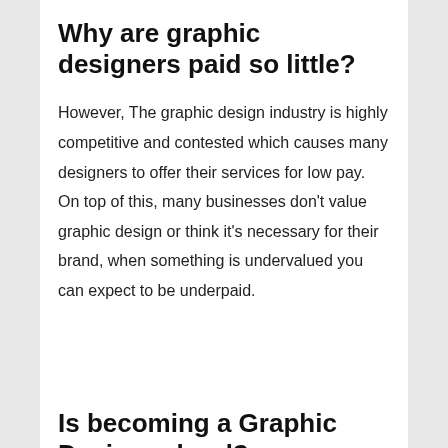Why are graphic designers paid so little?
However, The graphic design industry is highly competitive and contested which causes many designers to offer their services for low pay. On top of this, many businesses don’t value graphic design or think it’s necessary for their brand, when something is undervalued you can expect to be underpaid.
Is becoming a Graphic Designer hard?